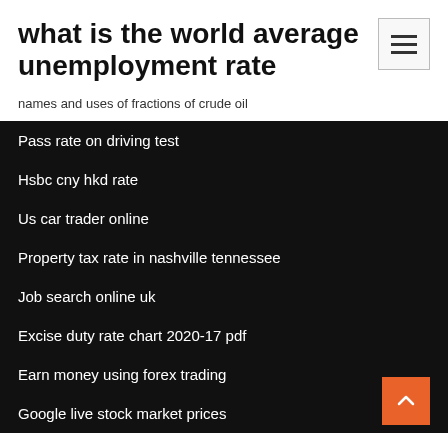what is the world average unemployment rate
names and uses of fractions of crude oil
Pass rate on driving test
Hsbc cny hkd rate
Us car trader online
Property tax rate in nashville tennessee
Job search online uk
Excise duty rate chart 2020-17 pdf
Earn money using forex trading
Google live stock market prices